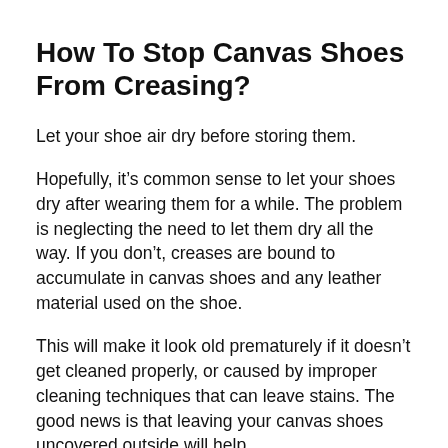How To Stop Canvas Shoes From Creasing?
Let your shoe air dry before storing them.
Hopefully, it’s common sense to let your shoes dry after wearing them for a while. The problem is neglecting the need to let them dry all the way. If you don’t, creases are bound to accumulate in canvas shoes and any leather material used on the shoe.
This will make it look old prematurely if it doesn’t get cleaned properly, or caused by improper cleaning techniques that can leave stains. The good news is that leaving your canvas shoes uncovered outside will help